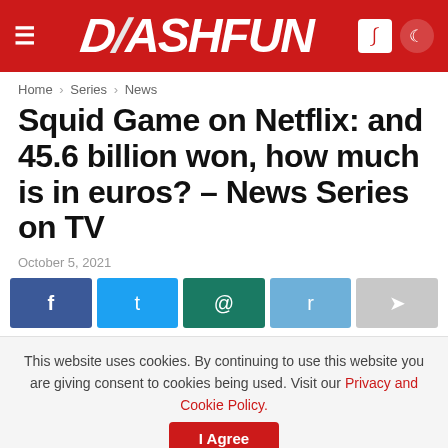DASHFUN
Home > Series > News
Squid Game on Netflix: and 45.6 billion won, how much is in euros? – News Series on TV
October 5, 2021
[Figure (infographic): Social share buttons: Facebook, Twitter, WhatsApp, Reddit, Share]
This website uses cookies. By continuing to use this website you are giving consent to cookies being used. Visit our Privacy and Cookie Policy.